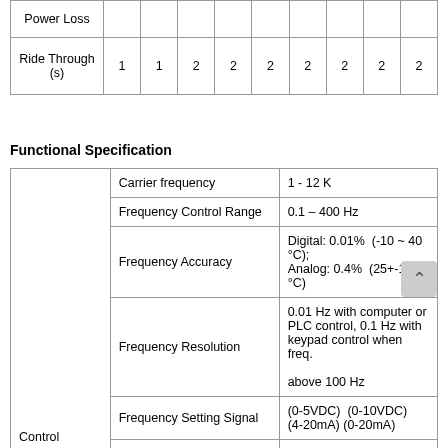|  |  |  |  |  |  |  |  |  |  |
| --- | --- | --- | --- | --- | --- | --- | --- | --- | --- |
| Power Loss |  |  |  |  |  |  |  |  |  |
| Ride Through (s) | 1 | 1 | 2 | 2 | 2 | 2 | 2 | 2 | 2 |
Functional Specification
|  | Specification | Value |
| --- | --- | --- |
|  | Carrier frequency | 1 - 12 K |
|  | Frequency Control Range | 0.1 – 400 Hz |
|  | Frequency Accuracy | Digital: 0.01%  (-10 ~ 40 °C); Analog: 0.4%  (25+-10 °C) |
| Control Characteristics | Frequency Resolution | 0.01 Hz with computer or PLC control, 0.1 Hz with keypad control when freq.

above 100 Hz |
|  | Frequency Setting Signal | (0-5VDC)  (0-10VDC)  (4-20mA) (0-20mA) |
|  | Accel / Decel Time | 0.1-3600 SEC with  (2) S-curves |